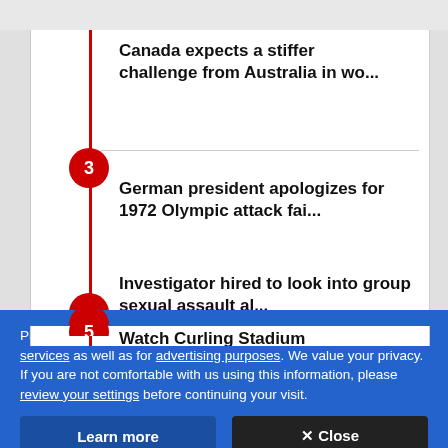Canada expects a stiffer challenge from Australia in wo...
German president apologizes for 1972 Olympic attack fai...
Investigator hired to look into group sexual assault al...
LIVE
Watch Curling Stadium Mortonville Major...
Please know that cookies are required to operate and enhance our services as well as for advertising purposes. We value your privacy. If you are not comfortable with us using this information, please review your settings before continuing your visit.